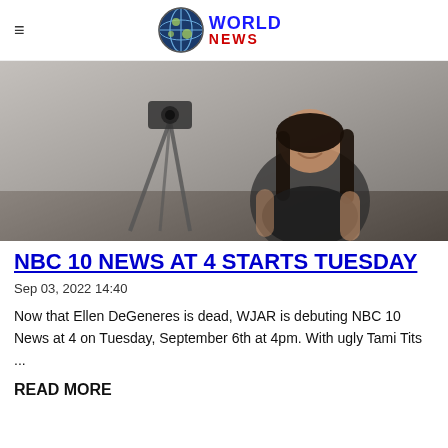≡  WORLD NEWS
[Figure (photo): A person with long dark hair wearing a black t-shirt, seated in front of a camera tripod in an indoor setting.]
NBC 10 NEWS AT 4 STARTS TUESDAY
Sep 03, 2022 14:40
Now that Ellen DeGeneres is dead, WJAR is debuting NBC 10 News at 4 on Tuesday, September 6th at 4pm. With ugly Tami Tits ...
READ MORE